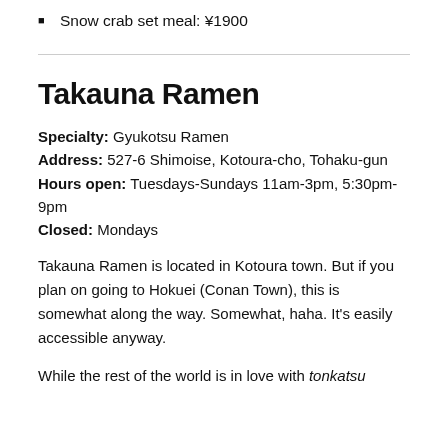Snow crab set meal: ¥1900
Takauna Ramen
Specialty: Gyukotsu Ramen
Address: 527-6 Shimoise, Kotoura-cho, Tohaku-gun
Hours open: Tuesdays-Sundays 11am-3pm, 5:30pm-9pm
Closed: Mondays
Takauna Ramen is located in Kotoura town. But if you plan on going to Hokuei (Conan Town), this is somewhat along the way. Somewhat, haha. It's easily accessible anyway.
While the rest of the world is in love with tonkatsu